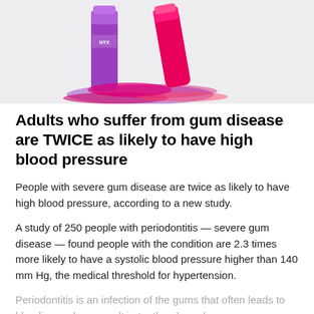[Figure (photo): Partial view of colorful lip gloss or lipstick products (pink, magenta, red) on a light gray background, cropped at top]
Adults who suffer from gum disease are TWICE as likely to have high blood pressure
People with severe gum disease are twice as likely to have high blood pressure, according to a new study.
A study of 250 people with periodontitis — severe gum disease — found people with the condition are 2.3 times more likely to have a systolic blood pressure higher than 140 mm Hg, the medical threshold for hypertension.
Periodontitis is an infection of the gums that often leads to bleeding and can result in tooth or bone loss.